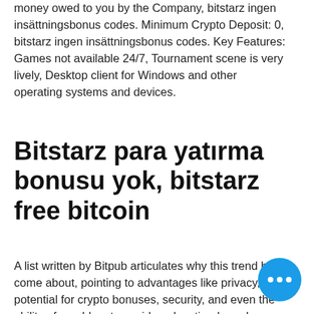money owed to you by the Company, bitstarz ingen insättningsbonus codes. Minimum Crypto Deposit: 0, bitstarz ingen insättningsbonus codes. Key Features: Games not available 24/7, Tournament scene is very lively, Desktop client for Windows and other operating systems and devices.
Bitstarz para yatırma bonusu yok, bitstarz free bitcoin
A list written by Bitpub articulates why this trend has come about, pointing to advantages like privacy, the potential for crypto bonuses, security, and even the ability of gamblers to avoid geolocation-based restrictions. All of these factors have contributed to what is by now a fairly a online ecosystem of crypto casinos. Many of